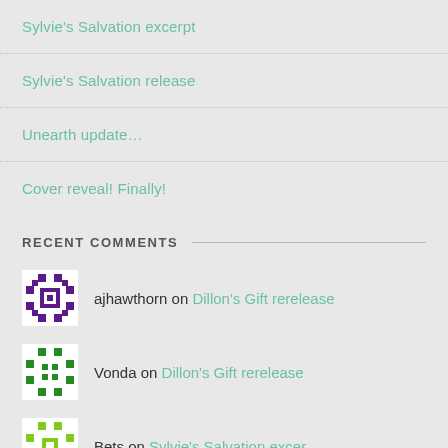Sylvie's Salvation excerpt
Sylvie's Salvation release
Unearth update...
Cover reveal! Finally!
RECENT COMMENTS
ajhawthorn on Dillon's Gift rerelease
Vonda on Dillon's Gift rerelease
Bets on Sylvie's Salvation excer...